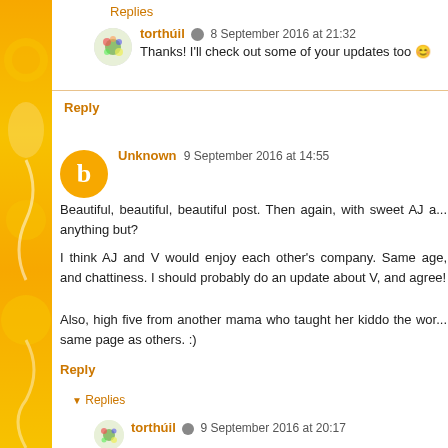Replies
torthúil  8 September 2016 at 21:32
Thanks! I'll check out some of your updates too 😊
Reply
Unknown  9 September 2016 at 14:55
Beautiful, beautiful, beautiful post. Then again, with sweet AJ a... anything but?

I think AJ and V would enjoy each other's company. Same age, and chattiness. I should probably do an update about V, and agree!

Also, high five from another mama who taught her kiddo the wor... same page as others. :)
Reply
Replies
torthúil  9 September 2016 at 20:17